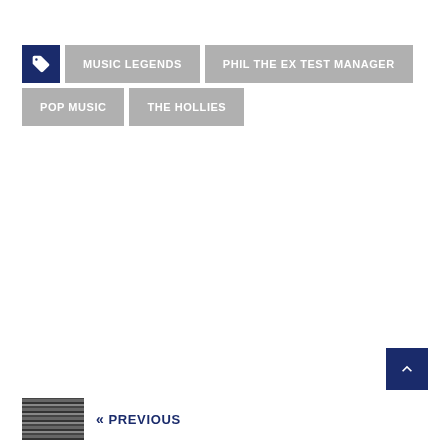MUSIC LEGENDS
PHIL THE EX TEST MANAGER
POP MUSIC
THE HOLLIES
« PREVIOUS